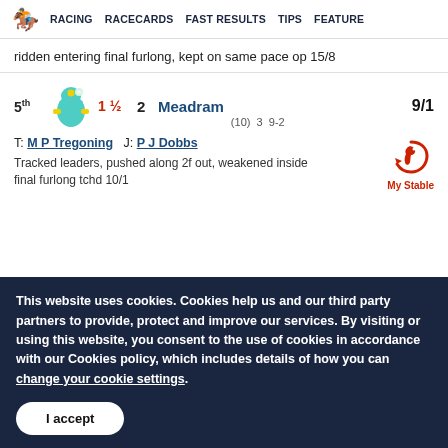RACING  RACECARDS  FAST RESULTS  TIPS  FEATURE
ridden entering final furlong, kept on same pace op 15/8
5th  1½  2  Meadram  9/1  (10)  3  9-2
T: M P Tregoning  J: P J Dobbs
Tracked leaders, pushed along 2f out, weakened inside final furlong tchd 10/1
This website uses cookies. Cookies help us and our third party partners to provide, protect and improve our services. By visiting or using this website, you consent to the use of cookies in accordance with our Cookies policy, which includes details of how you can change your cookie settings.
I accept